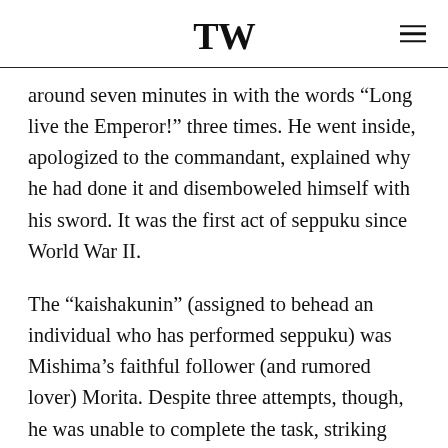TW
around seven minutes in with the words “Long live the Emperor!” three times. He went inside, apologized to the commandant, explained why he had done it and disemboweled himself with his sword. It was the first act of seppuku since World War II.
The “kaishakunin” (assigned to behead an individual who has performed seppuku) was Mishima’s faithful follower (and rumored lover) Morita. Despite three attempts, though, he was unable to complete the task, striking him on the